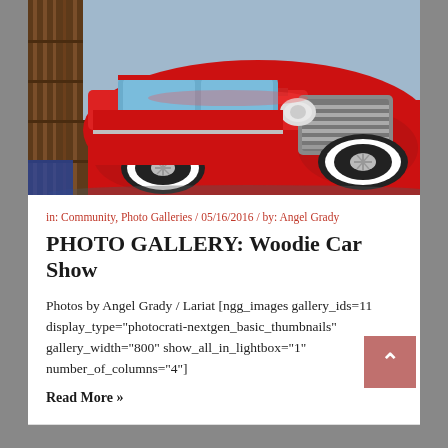[Figure (photo): Close-up photograph of a vintage red classic car (likely 1940s Ford or similar), showing the front grille, hood, headlights, and chrome details with whitewall tires. Background shows wooden paneling of another vehicle.]
in: Community, Photo Galleries / 05/16/2016 / by: Angel Grady
PHOTO GALLERY: Woodie Car Show
Photos by Angel Grady / Lariat [ngg_images gallery_ids=11 display_type="photocrati-nextgen_basic_thumbnails" gallery_width="800" show_all_in_lightbox="1" number_of_columns="4"]
Read More »